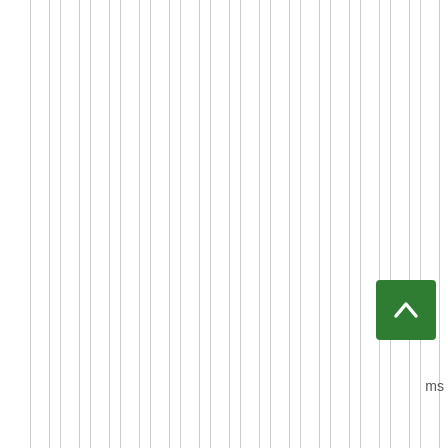rotten situation is actually a big feather in his cap. In other news, Belichick had the tremendous fortune of having Brady score a whopping 13 points in 2 superbowls and yet he came away with a win in both, against two leading offensive dvoa squads. And in two of those other losses, his defenses were torn asunder when the opposition scored a ludicrous 17 pts and 21 pts.(yes I know one time his defence did